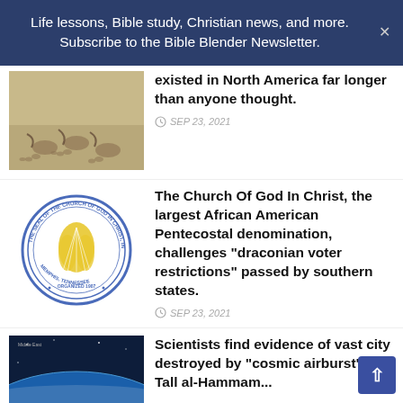Life lessons, Bible study, Christian news, and more. Subscribe to the Bible Blender Newsletter.
existed in North America far longer than anyone thought.
SEP 23, 2021
[Figure (photo): Ancient footprints in sandy/rocky ground]
The Church Of God In Christ, the largest African American Pentecostal denomination, challenges "draconian voter restrictions" passed by southern states.
SEP 23, 2021
[Figure (logo): Seal of the Church of God in Christ circular logo with wheat/fire design, organized 1907, Memphis Tennessee]
Scientists find evidence of vast city destroyed by "cosmic airburst". Is Tall al-Hammam...
[Figure (photo): Aerial/satellite view of Earth showing Middle East region]